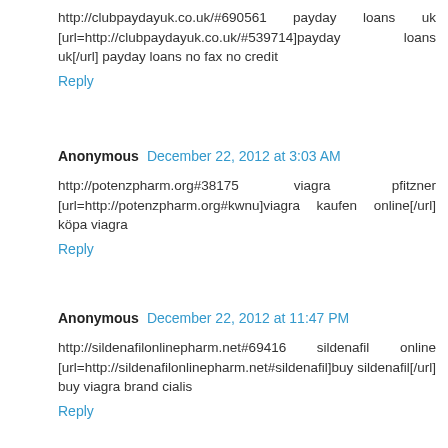http://clubpaydayuk.co.uk/#690561 payday loans uk [url=http://clubpaydayuk.co.uk/#539714]payday loans uk[/url] payday loans no fax no credit
Reply
Anonymous December 22, 2012 at 3:03 AM
http://potenzpharm.org#38175 viagra pfitzner [url=http://potenzpharm.org#kwnu]viagra kaufen online[/url] köpa viagra
Reply
Anonymous December 22, 2012 at 11:47 PM
http://sildenafilonlinepharm.net#69416 sildenafil online [url=http://sildenafilonlinepharm.net#sildenafil]buy sildenafil[/url] buy viagra brand cialis
Reply